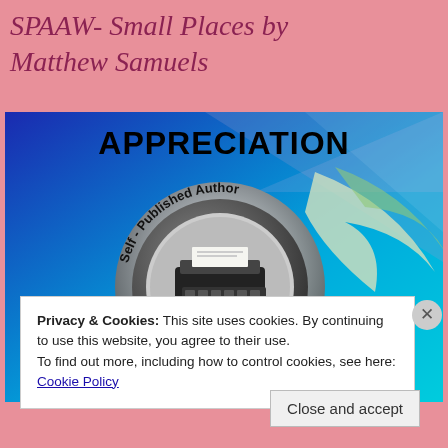SPAAW- Small Places by Matthew Samuels
[Figure (illustration): Appreciation badge image showing a circular silver badge with a typewriter in the center, text reading 'Self-Published Author' curved around the circle, 'APPRECIATION' in bold black text at the top, against a blue gradient background with a swoosh graphic. Bottom shows partial text 'WEEK' in pink/magenta.]
Privacy & Cookies: This site uses cookies. By continuing to use this website, you agree to their use.
To find out more, including how to control cookies, see here: Cookie Policy
Close and accept